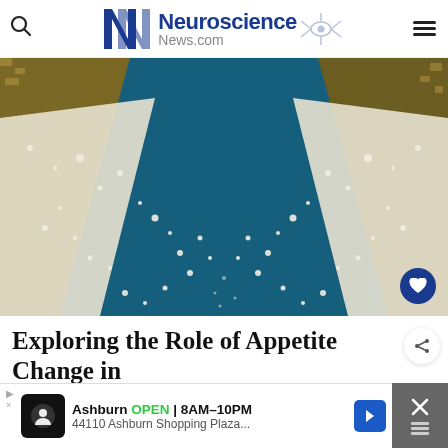Neuroscience News.com
[Figure (photo): Aerial or close-up view of white salt or sugar crystals scattered on a dark teal/blue surface, with rocky or grainy brown edges on the sides, forming a V-shape of scattered white granules.]
Exploring the Role of Appetite Change in Depression
Ashburn OPEN 8AM–10PM 44110 Ashburn Shopping Plaza...